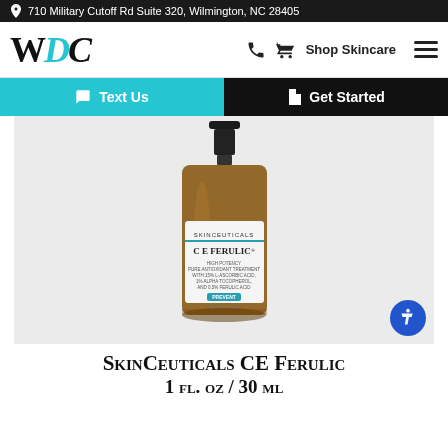710 Military Cutoff Rd Suite 320, Wilmington, NC 28405
[Figure (logo): WDC logo with teal italic C]
Shop Skincare
Text Us
Get Started
[Figure (photo): SkinCeuticals C E Ferulic serum amber glass bottle with dropper cap, label showing product name and description]
SkinCeuticals CE Ferulic
1 fl. oz / 30 ml